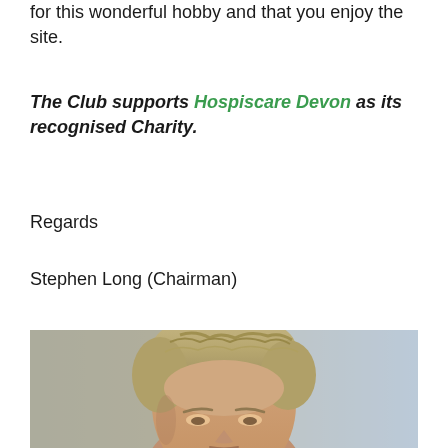for this wonderful hobby and that you enjoy the site.
The Club supports Hospiscare Devon as its recognised Charity.
Regards
Stephen Long (Chairman)
[Figure (photo): Portrait photo of a middle-aged man with sandy/grey hair against a light blue-grey background, cropped from shoulders up]